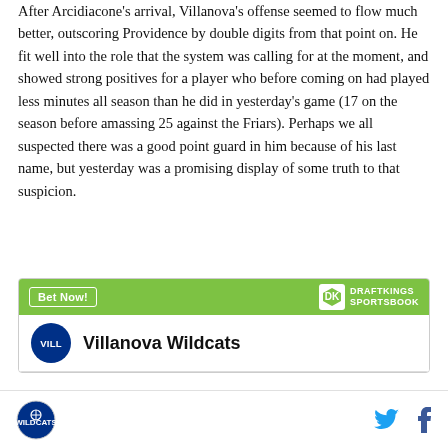After Arcidiacone's arrival, Villanova's offense seemed to flow much better, outscoring Providence by double digits from that point on. He fit well into the role that the system was calling for at the moment, and showed strong positives for a player who before coming on had played less minutes all season than he did in yesterday's game (17 on the season before amassing 25 against the Friars). Perhaps we all suspected there was a good point guard in him because of his last name, but yesterday was a promising display of some truth to that suspicion.
[Figure (other): DraftKings Sportsbook betting widget with green header showing 'Bet Now!' button and DraftKings Sportsbook logo, with Villanova Wildcats team listing below]
Villanova Wildcats logo, Twitter share icon, Facebook share icon